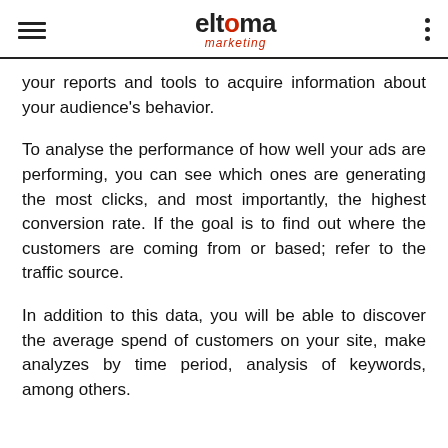eltoma marketing
your reports and tools to acquire information about your audience's behavior.
To analyse the performance of how well your ads are performing, you can see which ones are generating the most clicks, and most importantly, the highest conversion rate. If the goal is to find out where the customers are coming from or based; refer to the traffic source.
In addition to this data, you will be able to discover the average spend of customers on your site, make analyzes by time period, analysis of keywords, among others.